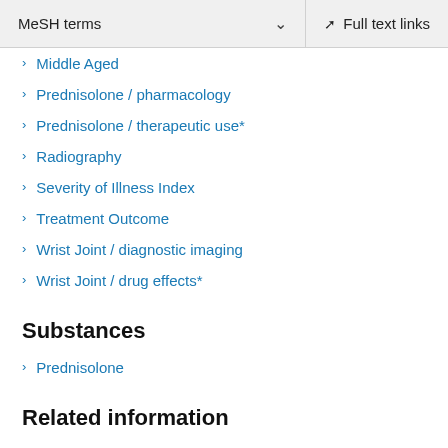MeSH terms   Full text links
Middle Aged
Prednisolone / pharmacology
Prednisolone / therapeutic use*
Radiography
Severity of Illness Index
Treatment Outcome
Wrist Joint / diagnostic imaging
Wrist Joint / drug effects*
Substances
Prednisolone
Related information
Cited in Books
MedGen